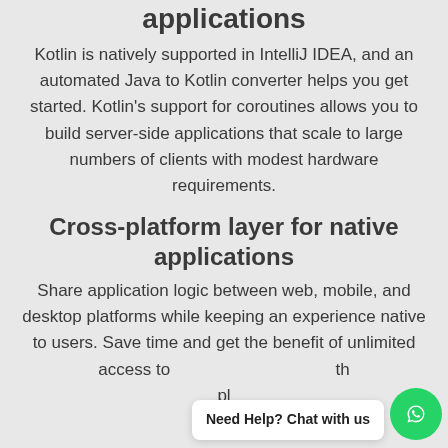applications
Kotlin is natively supported in IntelliJ IDEA, and an automated Java to Kotlin converter helps you get started. Kotlin's support for coroutines allows you to build server-side applications that scale to large numbers of clients with modest hardware requirements.
Cross-platform layer for native applications
Share application logic between web, mobile, and desktop platforms while keeping an experience native to users. Save time and get the benefit of unlimited access to … th… pl…
[Figure (other): WhatsApp chat widget overlay with 'Need Help? Chat with us' text bubble and green WhatsApp icon button]